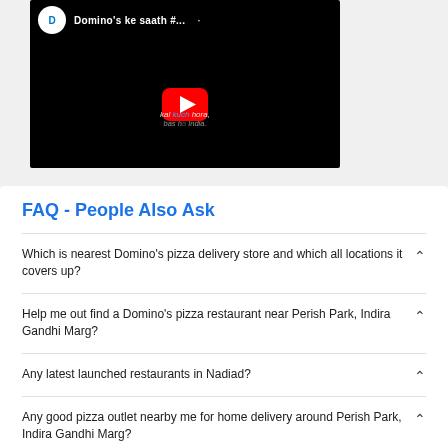[Figure (screenshot): YouTube video thumbnail showing Domino's branded content with play button, titled 'Domino's ke saath #...']
FAQ - People Also Ask
Which is nearest Domino's pizza delivery store and which all locations it covers up?
Help me out find a Domino's pizza restaurant near Perish Park, Indira Gandhi Marg?
Any latest launched restaurants in Nadiad?
Any good pizza outlet nearby me for home delivery around Perish Park, Indira Gandhi Marg?
Suggest Some Best Nearby Pizza Outlets in Perish Park, Indira Gandhi Marg?
Recommend Some Top Restaurants Near me?